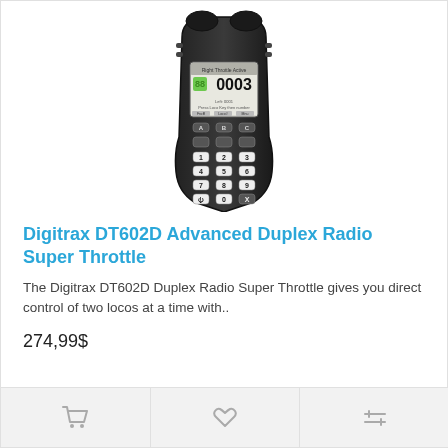[Figure (photo): Photo of Digitrax DT602D Advanced Duplex Radio Super Throttle handheld device, black with keypad and display screen showing number 0003]
Digitrax DT602D Advanced Duplex Radio Super Throttle
The Digitrax DT602D Duplex Radio Super Throttle gives you direct control of two locos at a time with..
274,99$